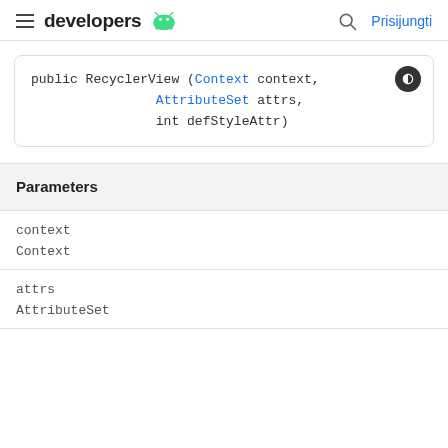developers | Prisijungti
| Parameters |
| --- |
| context | Context |
| attrs | AttributeSet |
AttributeSet